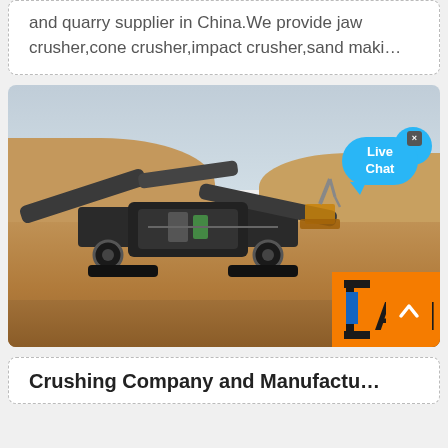and quarry supplier in China.We provide jaw crusher,cone crusher,impact crusher,sand maki…
[Figure (photo): Photograph of a large mobile crushing machine (jaw/impact crusher) on a construction or quarry site with earthen embankments in the background, overcast sky, and an excavator visible behind the crusher. Bottom right shows partial company logo 'AM' in orange and dark colors. A 'Live Chat' speech bubble button is visible in the upper right. An orange scroll-to-top button with a caret/arrow is at the lower right corner.]
Crushing Company and Manufactu…